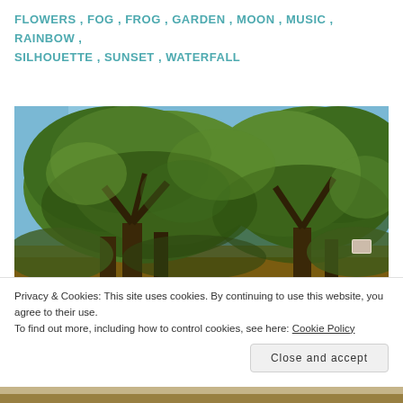FLOWERS, FOG, FROG, GARDEN, MOON, MUSIC, RAINBOW, SILHOUETTE, SUNSET, WATERFALL
[Figure (photo): Outdoor photo of large green deciduous trees with dense canopy against a blue sky. The trees have heavy spreading branches; the scene appears to be a park or natural area in daylight.]
Privacy & Cookies: This site uses cookies. By continuing to use this website, you agree to their use.
To find out more, including how to control cookies, see here: Cookie Policy
Close and accept